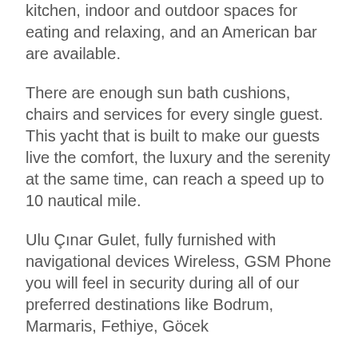kitchen, indoor and outdoor spaces for eating and relaxing, and an American bar are available.
There are enough sun bath cushions, chairs and services for every single guest. This yacht that is built to make our guests live the comfort, the luxury and the serenity at the same time, can reach a speed up to 10 nautical mile.
Ulu Çınar Gulet, fully furnished with navigational devices Wireless, GSM Phone you will feel in security during all of our preferred destinations like Bodrum, Marmaris, Fethiye, Göcek
Beside that, a LCD TV, a DVD player and a stereo music player are available for our dear guests in the living room.
Our sportive guests can optionally participate to watersports excursions such as Wind Surf, An occasion for our guests that want to enjoy their Blue Cruise in the virgin